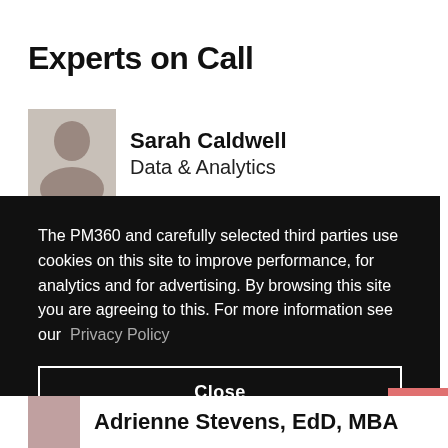Experts on Call
Sarah Caldwell
Data & Analytics
The PM360 and carefully selected third parties use cookies on this site to improve performance, for analytics and for advertising. By browsing this site you are agreeing to this. For more information see our Privacy Policy
Close
Adrienne Stevens, EdD, MBA